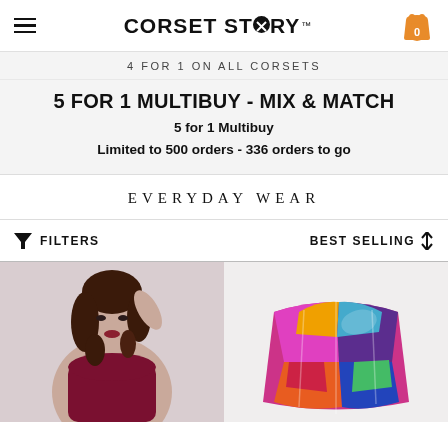≡  CORSET STORY™  [cart: 0]
4 FOR 1 ON ALL CORSETS
5 FOR 1 MULTIBUY - MIX & MATCH
5 for 1 Multibuy
Limited to 500 orders - 336 orders to go
EVERYDAY WEAR
FILTERS   BEST SELLING ↕
[Figure (photo): Woman wearing a dark burgundy/maroon strapless corset, with curly dark hair, hand raised near her head, on a light background.]
[Figure (photo): Colorful corset with abstract multicolored patchwork pattern in pinks, purples, blues and oranges, shown on a light background.]